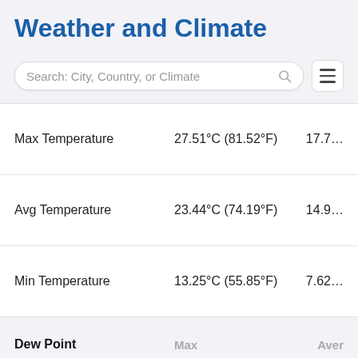Weather and Climate
[Figure (screenshot): Search bar with placeholder text 'Search: City, Country, or Climate' and a hamburger menu icon]
|  | Max | Aver |
| --- | --- | --- |
| Max Temperature | 27.51°C (81.52°F) | 17.7… |
| Avg Temperature | 23.44°C (74.19°F) | 14.9… |
| Min Temperature | 13.25°C (55.85°F) | 7.62… |
| Dew Point (header) | Max | Aver |
| Dew Point | 12.23°C (54.01°F) | 8.64… |
| Precipitation (header) | Max | Aver |
| Precipitation | 12.43mm | 0.49in | … |